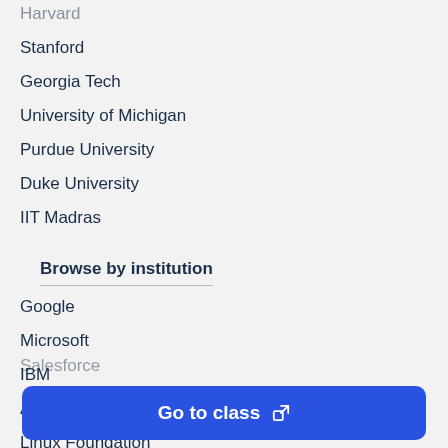Harvard
Stanford
Georgia Tech
University of Michigan
Purdue University
Duke University
IIT Madras
Browse by institution
Google
Microsoft
IBM
Amazon
Linux Foundation
British Council
Salesforce
Go to class